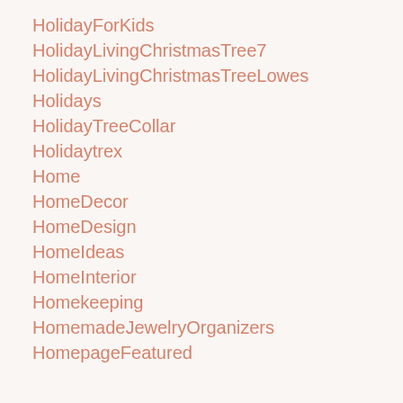HolidayForKids
HolidayLivingChristmasTree7
HolidayLivingChristmasTreeLowes
Holidays
HolidayTreeCollar
Holidaytrex
Home
HomeDecor
HomeDesign
HomeIdeas
HomeInterior
Homekeeping
HomemadeJewelryOrganizers
HomepageFeatured